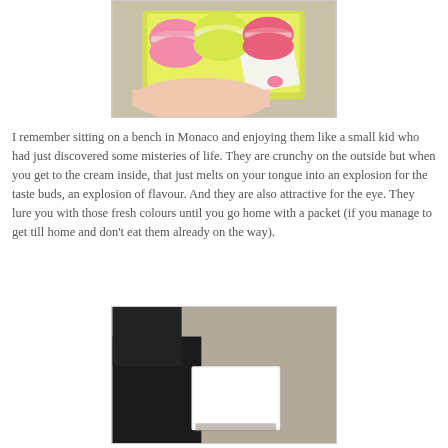[Figure (photo): A hand holding an open box of colorful French macarons (yellow, pink, green) viewed from above.]
I remember sitting on a bench in Monaco and enjoying them like a small kid who had just discovered some misteries of life. They are crunchy on the outside but when you get to the cream inside, that just melts on your tongue into an explosion for the taste buds, an explosion of flavour. And they are also attractive for the eye. They lure you with those fresh colours until you go home with a packet (if you manage to get till home and don't eat them already on the way).
[Figure (photo): A person in a dark jacket holding a white piece of paper or card, viewed from above on a beige surface.]